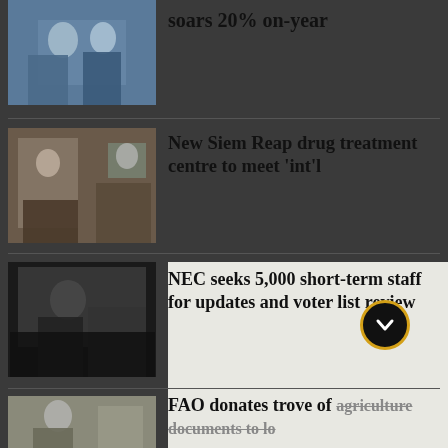[Figure (photo): Partial news article thumbnail - top of page, people in blue]
soars 20% on-year
[Figure (photo): News thumbnail - people in indoor setting, drug treatment centre]
New Siem Reap drug treatment centre to meet ‘int’l
[Figure (photo): News thumbnail - person looking at phone or document, dark tones]
NEC seeks 5,000 short-term staff for updates and voter list review
[Figure (photo): News thumbnail - people working, FAO agriculture documents]
FAO donates trove of agriculture documents to local universities
[Figure (photo): Partial news thumbnail - bottom of page]
New Phnom Penh flyovers to